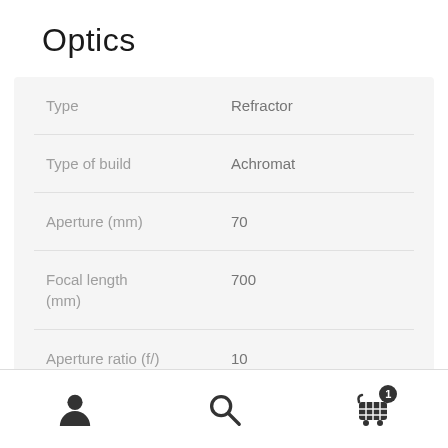Optics
| Property | Value |
| --- | --- |
| Type | Refractor |
| Type of build | Achromat |
| Aperture (mm) | 70 |
| Focal length (mm) | 700 |
| Aperture ratio (f/) | 10 |